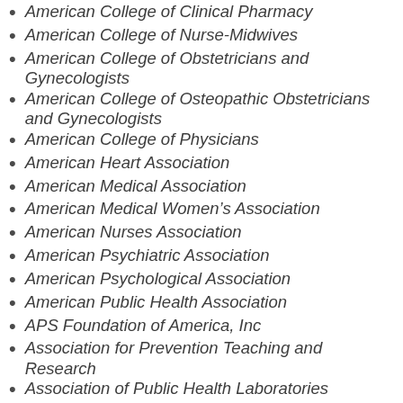American College of Clinical Pharmacy
American College of Nurse-Midwives
American College of Obstetricians and Gynecologists
American College of Osteopathic Obstetricians and Gynecologists
American College of Physicians
American Heart Association
American Medical Association
American Medical Women's Association
American Nurses Association
American Psychiatric Association
American Psychological Association
American Public Health Association
APS Foundation of America, Inc
Association for Prevention Teaching and Research
Association of Public Health Laboratories
Association of State and Territorial Health Officials
Association of State Public Health Nutritionists